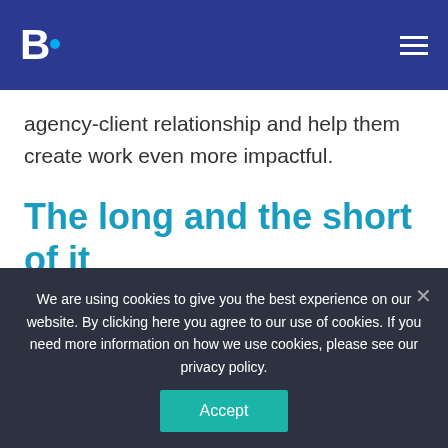[Figure (logo): B. logo with blue dot on dark blue background with hamburger menu icon]
agency-client relationship and help them create work even more impactful.
The long and the short of it
To put it in stock market terms, I'm short on banner ads. I think most of the internet has been for quite some time.
We are using cookies to give you the best experience on our website. By clicking here you agree to our use of cookies. If you need more information on how we use cookies, please see our privacy policy.
Accept